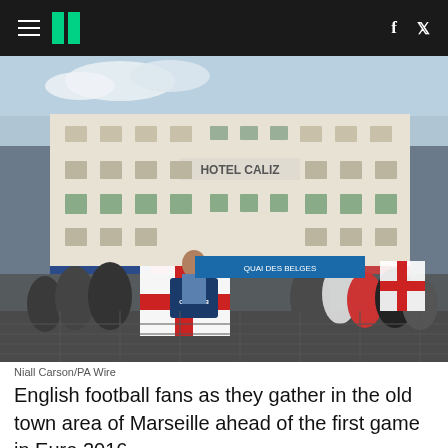HuffPost navigation with social icons
[Figure (photo): English football fans gathering in the old town area of Marseille, holding England flags including a reversed St George's Cross England flag, with the Hotel Caliz building visible in the background, ahead of Euro 2016.]
Niall Carson/PA Wire
English football fans as they gather in the old town area of Marseille ahead of the first game in Euro 2016.